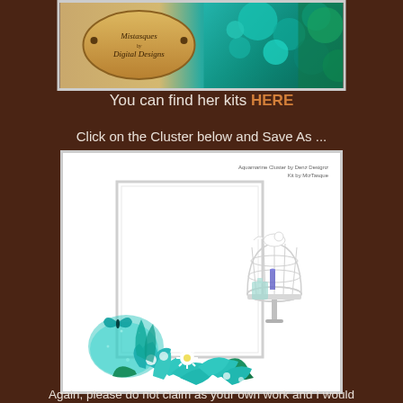[Figure (illustration): Aquamarine digital scrapbooking kit banner image with teal flowers, ornaments, and a Mistasques Digital Designs logo oval on a gold-to-teal gradient background]
You can find her kits HERE
Click on the Cluster below and Save As ...
[Figure (illustration): Aquamarine Cluster digital scrapbook freebie featuring a white rectangular photo frame, white bird cage with dove, teal/aqua lilies and flowers, butterfly, and blue candle arrangements on white background. Credit text: Aquamarine Cluster by Denz Designz, Kit by MizTasque]
Again, please do not claim as your own work and I would